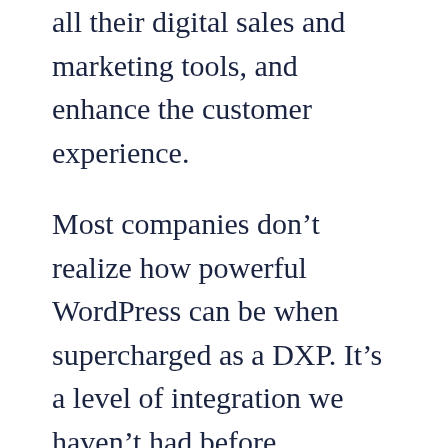all their digital sales and marketing tools, and enhance the customer experience.
Most companies don't realize how powerful WordPress can be when supercharged as a DXP. It's a level of integration we haven't had before, connecting social media, analytics, customer relationships, purchases, donations, email marketing, external databases, and just about anything else you can think of. It's the central hub of all your digital